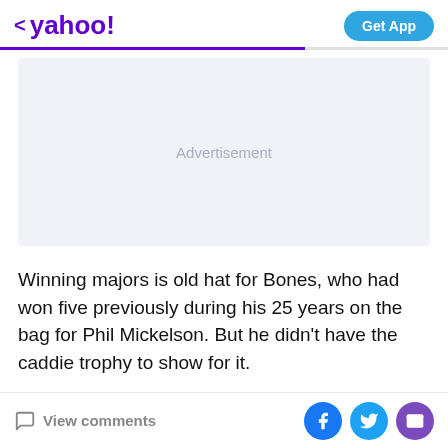< yahoo!  Get App
[Figure (other): Advertisement placeholder box with light gray background]
Winning majors is old hat for Bones, who had won five previously during his 25 years on the bag for Phil Mickelson. But he didn't have the caddie trophy to show for it.
View comments  [Facebook] [Twitter] [Mail]